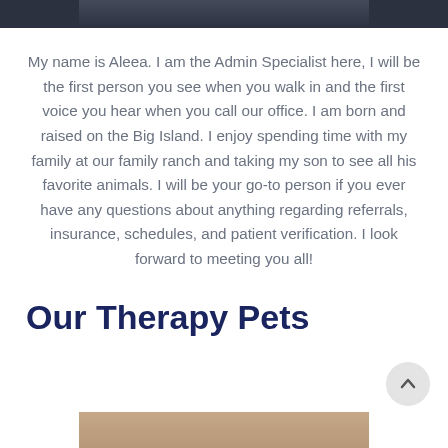[Figure (photo): Top portion of a photo of a person wearing a shirt with text, cropped at the top of the page]
My name is Aleea. I am the Admin Specialist here, I will be the first person you see when you walk in and the first voice you hear when you call our office. I am born and raised on the Big Island. I enjoy spending time with my family at our family ranch and taking my son to see all his favorite animals. I will be your go-to person if you ever have any questions about anything regarding referrals, insurance, schedules, and patient verification. I look forward to meeting you all!
Our Therapy Pets
[Figure (photo): Bottom portion of a photo of animals, cropped at the bottom of the page]